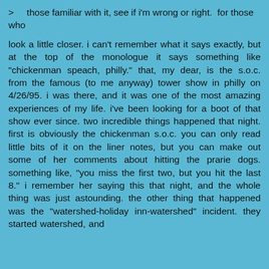>    those familiar with it, see if i'm wrong or right.  for those who
look a little closer. i can't remember what it says exactly, but at the top of the monologue it says something like "chickenman speach, philly." that, my dear, is the s.o.c. from the famous (to me anyway) tower show in philly on 4/26/95. i was there, and it was one of the most amazing experiences of my life. i've been looking for a boot of that show ever since. two incredible things happened that night. first is obviously the chickenman s.o.c. you can only read little bits of it on the liner notes, but you can make out some of her comments about hitting the prarie dogs. something like, "you miss the first two, but you hit the last 8." i remember her saying this that night, and the whole thing was just astounding. the other thing that happened was the "watershed-holiday inn-watershed" incident. they started watershed, and